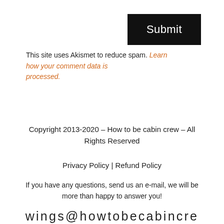Submit
This site uses Akismet to reduce spam. Learn how your comment data is processed.
Copyright 2013-2020 – How to be cabin crew – All Rights Reserved
Privacy Policy | Refund Policy
If you have any questions, send us an e-mail, we will be more than happy to answer you!
wings@howtobecabincrew.com